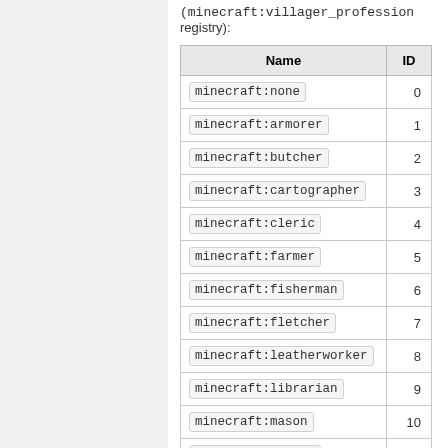(minecraft:villager_profession registry):
| Name | ID |
| --- | --- |
| minecraft:none | 0 |
| minecraft:armorer | 1 |
| minecraft:butcher | 2 |
| minecraft:cartographer | 3 |
| minecraft:cleric | 4 |
| minecraft:farmer | 5 |
| minecraft:fisherman | 6 |
| minecraft:fletcher | 7 |
| minecraft:leatherworker | 8 |
| minecraft:librarian | 9 |
| minecraft:mason | 10 |
| minecraft:nitwit | 11 |
| minecraft:shepherd | 12 |